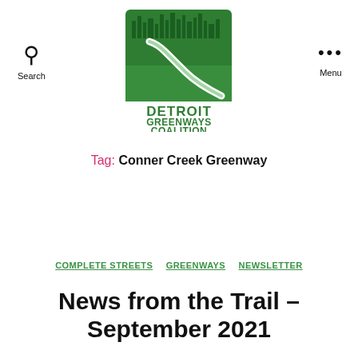[Figure (logo): Detroit Greenways Coalition logo — green square with city skyline silhouette and a curved path, with text DETROIT GREENWAYS COALITION in green below]
Search   Menu
Tag: Conner Creek Greenway
COMPLETE STREETS   GREENWAYS   NEWSLETTER
News from the Trail – September 2021